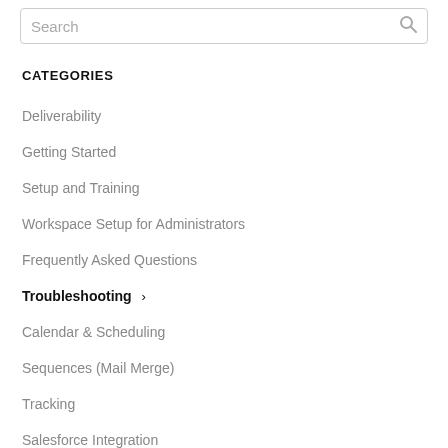[Figure (screenshot): Search input box with placeholder text 'Search' and a search icon on the right]
CATEGORIES
Deliverability
Getting Started
Setup and Training
Workspace Setup for Administrators
Frequently Asked Questions
Troubleshooting ›
Calendar & Scheduling
Sequences (Mail Merge)
Tracking
Salesforce Integration
Integrations